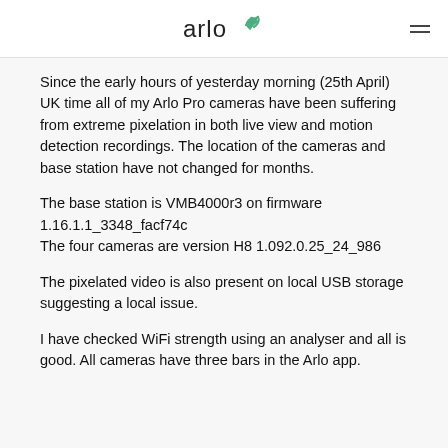arlo
Since the early hours of yesterday morning (25th April) UK time all of my Arlo Pro cameras have been suffering from extreme pixelation in both live view and motion detection recordings. The location of the cameras and base station have not changed for months.
The base station is VMB4000r3 on firmware 1.16.1.1_3348_facf74c
The four cameras are version H8 1.092.0.25_24_986
The pixelated video is also present on local USB storage suggesting a local issue.
I have checked WiFi strength using an analyser and all is good. All cameras have three bars in the Arlo app.